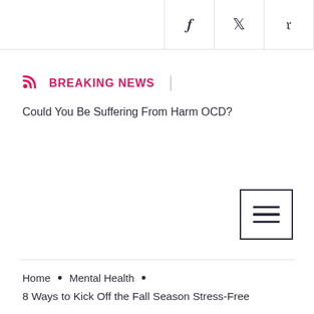Social share icons: Facebook, Twitter, Pinterest
BREAKING NEWS
Could You Be Suffering From Harm OCD?
[Figure (other): Hamburger menu button with three horizontal lines]
Home • Mental Health •
8 Ways to Kick Off the Fall Season Stress-Free